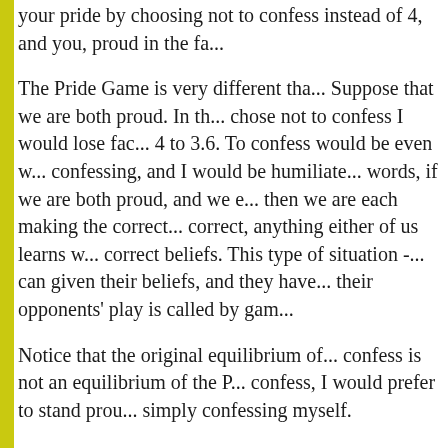your pride by choosing not to confess instead of 4, and you, proud in the fa...
The Pride Game is very different than... Suppose that we are both proud. In th... chose not to confess I would lose fac... 4 to 3.6. To confess would be even w... confessing, and I would be humiliated... words, if we are both proud, and we e... then we are each making the correct ... correct, anything either of us learns w... correct beliefs. This type of situation -... can given their beliefs, and they have... their opponents' play is called by gam...
Notice that the original equilibrium of... confess is not an equilibrium of the P... confess, I would prefer to stand prou... simply confessing myself.
Now suppose that we become "bette... meaning take this to mean that we ca... we are more altruistic, more generous... because I am more generous and ca... both on the utility I receive in the "sel... the utility received by you. Not being a... as much weight on my own utility as I... the original game I get 3 units of utilit... in the new game in which I am an altr... utility... utility... at 4/3 of...